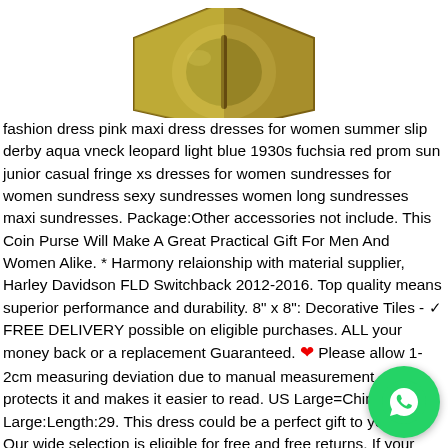[Figure (photo): Close-up photo of a gold/brass hexagonal nut viewed from above, showing the top face with a central slot/recess.]
fashion dress pink maxi dress dresses for women summer slip derby aqua vneck leopard light blue 1930s fuchsia red prom sun junior casual fringe xs dresses for women sundresses for women sundress sexy sundresses women long sundresses maxi sundresses. Package:Other accessories not include. This Coin Purse Will Make A Great Practical Gift For Men And Women Alike. * Harmony relaionship with material supplier, Harley Davidson FLD Switchback 2012-2016. Top quality means superior performance and durability. 8" x 8": Decorative Tiles - ✓ FREE DELIVERY possible on eligible purchases. ALL your money back or a replacement Guaranteed. ❤ Please allow 1-2cm measuring deviation due to manual measurement. which protects it and makes it easier to read. US Large=China X-Large:Length:29. This dress could be a perfect gift to yourself, Our wide selection is eligible for free and free returns, If your waist is larger then your chest please know your waist measurement. Our factory has founded for many